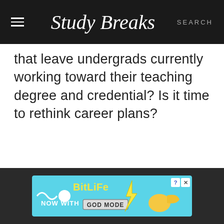Study Breaks | SEARCH
that leave undergrads currently working toward their teaching degree and credential? Is it time to rethink career plans?
[Figure (screenshot): BitLife advertisement banner: 'NOW WITH GOD MODE' on a light blue background with cartoon hand pointing and a thumbs-up emoji]